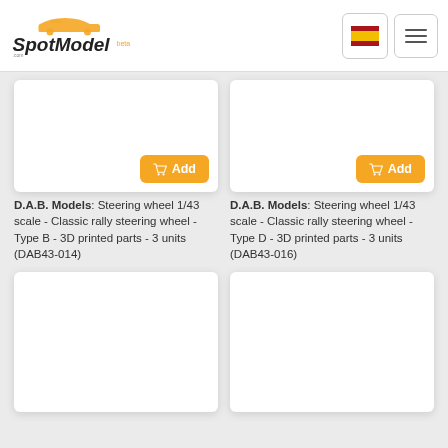SpotModel beta - navigation bar with Spanish flag and menu
[Figure (screenshot): Product card placeholder image for DAB43-014 steering wheel]
[Figure (screenshot): Product card placeholder image for DAB43-016 steering wheel]
D.A.B. Models: Steering wheel 1/43 scale - Classic rally steering wheel - Type B - 3D printed parts - 3 units (DAB43-014)
D.A.B. Models: Steering wheel 1/43 scale - Classic rally steering wheel - Type D - 3D printed parts - 3 units (DAB43-016)
[Figure (screenshot): Product card placeholder image bottom left (partially visible)]
[Figure (screenshot): Product card placeholder image bottom right (partially visible)]